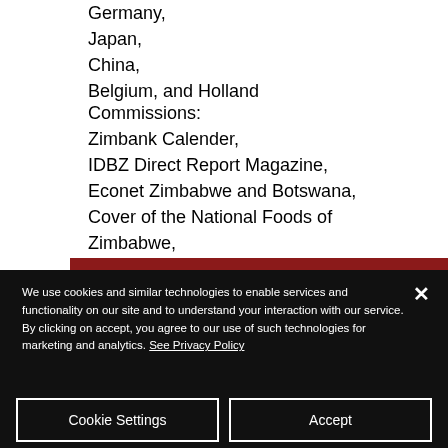Germany,
Japan,
China,
Belgium, and Holland
Commissions:
Zimbank Calender,
IDBZ Direct Report Magazine,
Econet Zimbabwe and Botswana,
Cover of the National Foods of Zimbabwe,
Zimbabwe Annual Report, and
Wimpy restaurants
We use cookies and similar technologies to enable services and functionality on our site and to understand your interaction with our service. By clicking on accept, you agree to our use of such technologies for marketing and analytics. See Privacy Policy
Cookie Settings
Accept